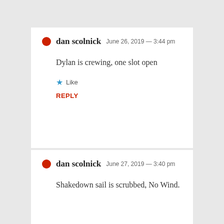dan scolnick  June 26, 2019 — 3:44 pm
Dylan is crewing, one slot open
★ Like
REPLY
dan scolnick  June 27, 2019 — 3:40 pm
Shakedown sail is scrubbed, No Wind.